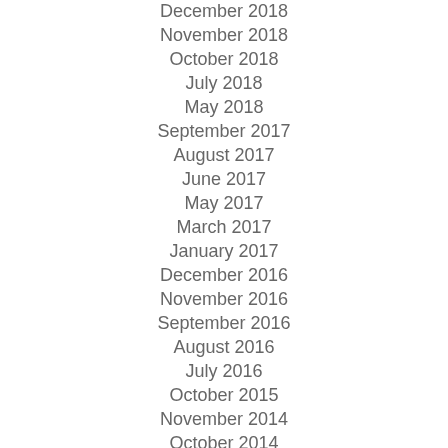December 2018
November 2018
October 2018
July 2018
May 2018
September 2017
August 2017
June 2017
May 2017
March 2017
January 2017
December 2016
November 2016
September 2016
August 2016
July 2016
October 2015
November 2014
October 2014